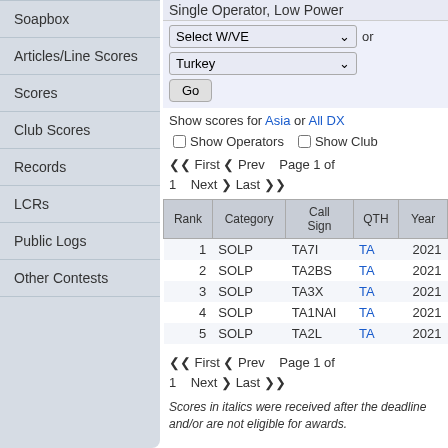Soapbox
Articles/Line Scores
Scores
Club Scores
Records
LCRs
Public Logs
Other Contests
Single Operator, Low Power
Select W/VE or Turkey
Go
Show scores for Asia or All DX
Show Operators  Show Club
First Prev Page 1 of 1 Next Last
| Rank | Category | Call Sign | QTH | Year |
| --- | --- | --- | --- | --- |
| 1 | SOLP | TA7I | TA | 2021 |
| 2 | SOLP | TA2BS | TA | 2021 |
| 3 | SOLP | TA3X | TA | 2021 |
| 4 | SOLP | TA1NAI | TA | 2021 |
| 5 | SOLP | TA2L | TA | 2021 |
First Prev Page 1 of 1 Next Last
Scores in italics were received after the deadline and/or are not eligible for awards.